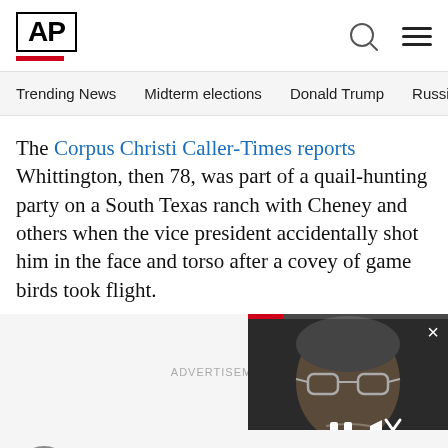[Figure (logo): AP (Associated Press) logo with red underbar]
Trending News   Midterm elections   Donald Trump   Russia-Ukr
The Corpus Christi Caller-Times reports Whittington, then 78, was part of a quail-hunting party on a South Texas ranch with Cheney and others when the vice president accidentally shot him in the face and torso after a covey of game birds took flight.
[Figure (screenshot): Video player overlay showing a man with glasses (William Barr), with playback controls (pause and mute buttons) and a close button, overlaid on an advertisement area]
Dozens of tiny bird-shot pellets pe